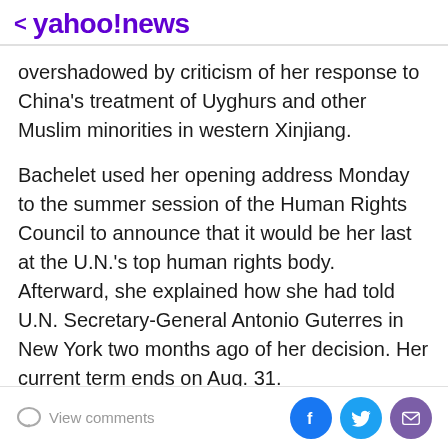< yahoo!news
overshadowed by criticism of her response to China's treatment of Uyghurs and other Muslim minorities in western Xinjiang.
Bachelet used her opening address Monday to the summer session of the Human Rights Council to announce that it would be her last at the U.N.'s top human rights body. Afterward, she explained how she had told U.N. Secretary-General Antonio Guterres in New York two months ago of her decision. Her current term ends on Aug. 31.
"I am not a young woman anymore and after a long and rich career, I want to go back to my country, to my
View comments